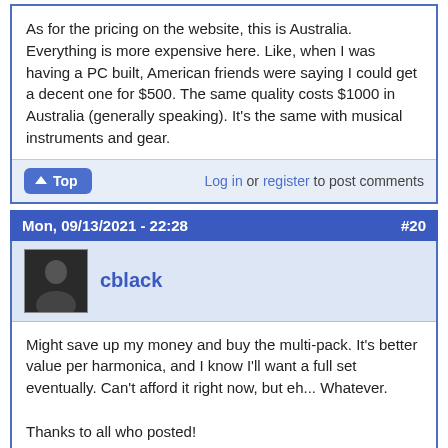As for the pricing on the website, this is Australia. Everything is more expensive here. Like, when I was having a PC built, American friends were saying I could get a decent one for $500. The same quality costs $1000 in Australia (generally speaking). It's the same with musical instruments and gear.
Log in or register to post comments
Mon, 09/13/2021 - 22:28  #20
cblack
Might save up my money and buy the multi-pack. It's better value per harmonica, and I know I'll want a full set eventually. Can't afford it right now, but eh... Whatever.

Thanks to all who posted!
Log in or register to post comments
Sat, 09/25/2021 - 20:10  #21